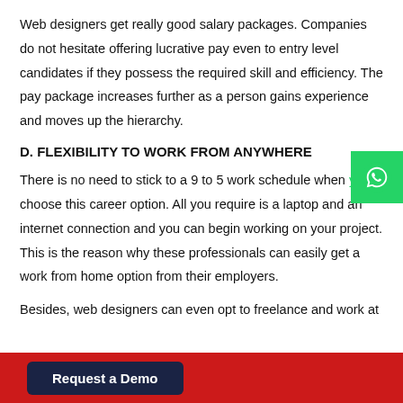Web designers get really good salary packages. Companies do not hesitate offering lucrative pay even to entry level candidates if they possess the required skill and efficiency. The pay package increases further as a person gains experience and moves up the hierarchy.
D. FLEXIBILITY TO WORK FROM ANYWHERE
There is no need to stick to a 9 to 5 work schedule when you choose this career option. All you require is a laptop and an internet connection and you can begin working on your project. This is the reason why these professionals can easily get a work from home option from their employers.
Besides, web designers can even opt to freelance and work at
Request a Demo